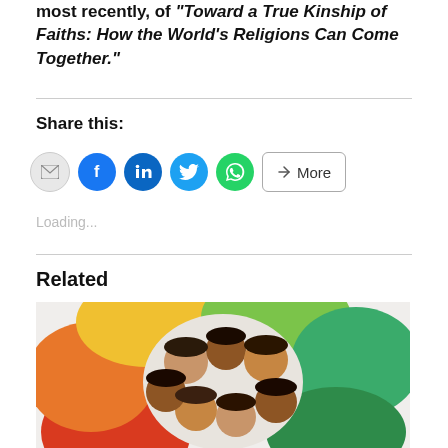most recently, of “Toward a True Kinship of Faiths: How the World’s Religions Can Come Together.”
Share this:
[Figure (infographic): Social share buttons: email, Facebook, LinkedIn, Twitter, WhatsApp, and More button]
Loading...
Related
[Figure (photo): Group of children in colorful shirts lying in a circle with heads together, viewed from above]